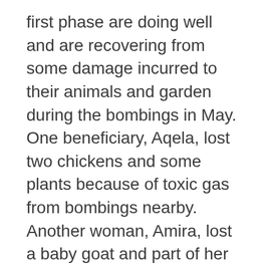first phase are doing well and are recovering from some damage incurred to their animals and garden during the bombings in May. One beneficiary, Aqela, lost two chickens and some plants because of toxic gas from bombings nearby. Another woman, Amira, lost a baby goat and part of her garden as well. However, Executive Director of WPC-R, Najah Ayash, assured that these damages are nothing they can't come back from.
In fact, Mrs. Ayash says Amira is doing an excellent job. Amira, pictured above